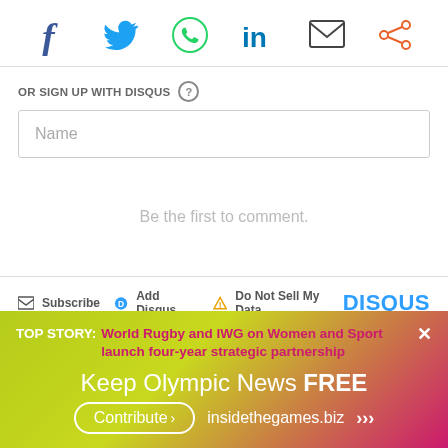[Figure (infographic): Social sharing icons row: Facebook (f), Twitter (bird), WhatsApp (phone in circle), LinkedIn (in), Email (envelope), Share (connected dots)]
OR SIGN UP WITH DISQUS ?
Name
Be the first to comment.
Subscribe  Add Disqus  Do Not Sell My Data   DISQUS
TOP STORY: World Rugby and IWG on Women and Sport launch four-year strategic partnership
Keep Olympic News FREE
Contribute > insidethegames.biz >>>